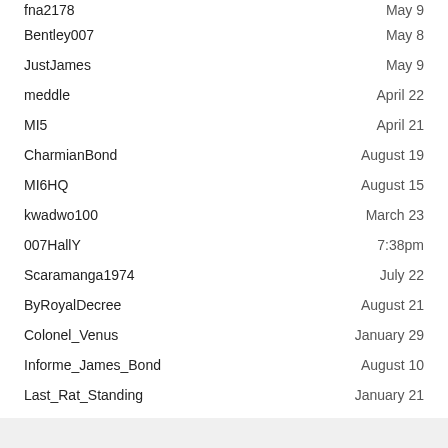fna2178	May 9
Bentley007	May 8
JustJames	May 9
meddle	April 22
MI5	April 21
CharmianBond	August 19
MI6HQ	August 15
kwadwo100	March 23
007HallY	7:38pm
Scaramanga1974	July 22
ByRoyalDecree	August 21
Colonel_Venus	January 29
Informe_James_Bond	August 10
Last_Rat_Standing	January 21
Spiderman456	January 15